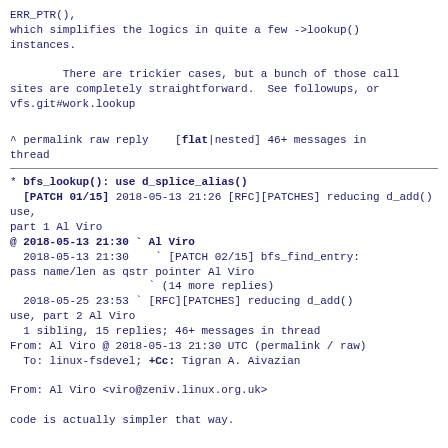ERR_PTR(),
which simplifies the logics in quite a few ->lookup()
instances.

        There are trickier cases, but a bunch of those call
sites are completely straightforward.  See followups, or
vfs.git#work.lookup
^ permalink raw reply   [flat|nested] 46+ messages in thread
* [PATCH 01/15] bfs_lookup(): use d_splice_alias()
  2018-05-13 21:26 [RFC][PATCHES] reducing d_add() use, part 1 Al Viro
@ 2018-05-13 21:30 ` Al Viro
  2018-05-13 21:30   ` [PATCH 02/15] bfs_find_entry: pass name/len as qstr pointer Al Viro
                     ` (14 more replies)
  2018-05-25 23:53 ` [RFC][PATCHES] reducing d_add() use, part 2 Al Viro
  1 sibling, 15 replies; 46+ messages in thread
From: Al Viro @ 2018-05-13 21:30 UTC (permalink / raw)
  To: linux-fsdevel; +Cc: Tigran A. Aivazian

From: Al Viro <viro@zeniv.linux.org.uk>

code is actually simpler that way.